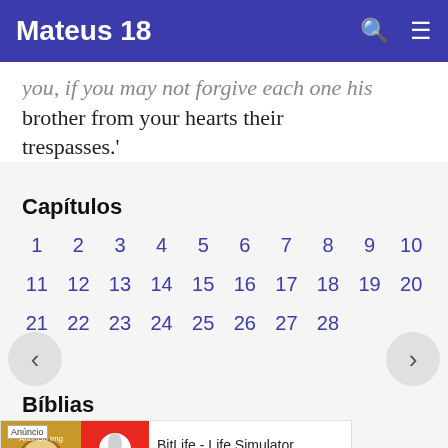Mateus 18
you, if you may not forgive each one his brother from your hearts their trespasses.'
Capítulos
| 1 | 2 | 3 | 4 | 5 | 6 | 7 | 8 | 9 | 10 |
| 11 | 12 | 13 | 14 | 15 | 16 | 17 | 18 | 19 | 20 |
| 21 | 22 | 23 | 24 | 25 | 26 | 27 | 28 |  |  |
Bíblias
[Figure (screenshot): Advertisement banner for BitLife - Life Simulator app with Install button]